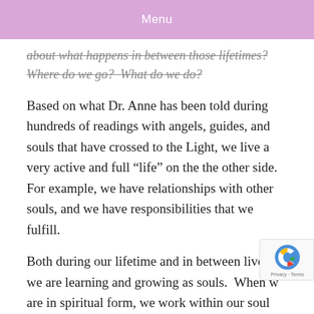Menu
about what happens in between those lifetimes? Where do we go?  What do we do?
Based on what Dr. Anne has been told during hundreds of readings with angels, guides, and souls that have crossed to the Light, we live a very active and full “life” on the the other side. For example, we have relationships with other souls, and we have responsibilities that we fulfill.
Both during our lifetime and in between lives, we are learning and growing as souls.  When we are in spiritual form, we work within our soul